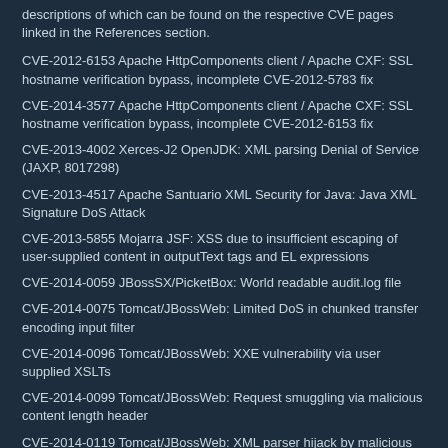descriptions of which can be found on the respective CVE pages linked in the References section.
CVE-2012-6153 Apache HttpComponents client / Apache CXF: SSL hostname verification bypass, incomplete CVE-2012-5783 fix
CVE-2014-3577 Apache HttpComponents client / Apache CXF: SSL hostname verification bypass, incomplete CVE-2012-6153 fix
CVE-2013-4002 Xerces-J2 OpenJDK: XML parsing Denial of Service (JAXP, 8017298)
CVE-2013-4517 Apache Santuario XML Security for Java: Java XML Signature DoS Attack
CVE-2013-5855 Mojarra JSF: XSS due to insufficient escaping of user-supplied content in outputText tags and EL expressions
CVE-2014-0059 JBossSX/PicketBox: World readable audit.log file
CVE-2014-0075 Tomcat/JBossWeb: Limited DoS in chunked transfer encoding input filter
CVE-2014-0096 Tomcat/JBossWeb: XXE vulnerability via user supplied XSLTs
CVE-2014-0099 Tomcat/JBossWeb: Request smuggling via malicious content length header
CVE-2014-0119 Tomcat/JBossWeb: XML parser hijack by malicious web application
CVE-2014-0193 netty: DoS via memory exhaustion during data aggregation